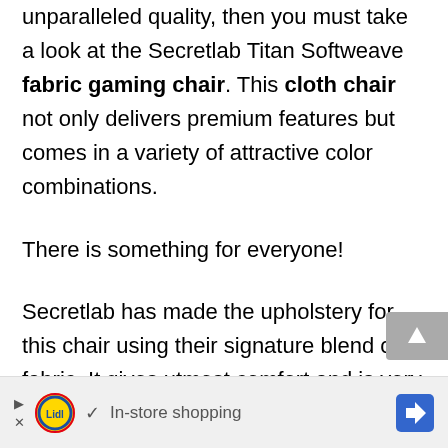unparalleled quality, then you must take a look at the Secretlab Titan Softweave fabric gaming chair. This cloth chair not only delivers premium features but comes in a variety of attractive color combinations.
There is something for everyone!
Secretlab has made the upholstery for this chair using their signature blend of fabric. It gives utmost comfort and is very soft to the touch. The breathability and overall quality of fabric surpass all others on this list.
[Figure (other): Advertisement banner for Lidl featuring a play button, Lidl logo, checkmark, 'In-store shopping' text, and a blue navigation arrow icon]